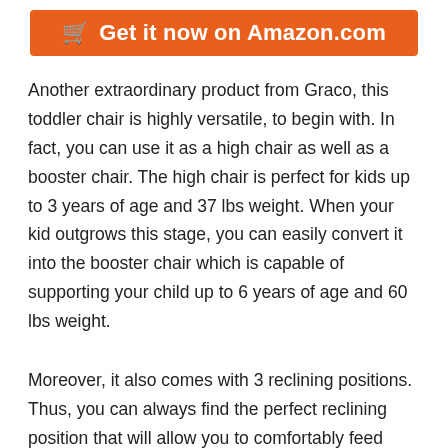[Figure (other): Orange button with shopping cart icon and text 'Get it now on Amazon.com']
Another extraordinary product from Graco, this toddler chair is highly versatile, to begin with. In fact, you can use it as a high chair as well as a booster chair. The high chair is perfect for kids up to 3 years of age and 37 lbs weight. When your kid outgrows this stage, you can easily convert it into the booster chair which is capable of supporting your child up to 6 years of age and 60 lbs weight.
Moreover, it also comes with 3 reclining positions. Thus, you can always find the perfect reclining position that will allow you to comfortably feed your toddler.
Key features: